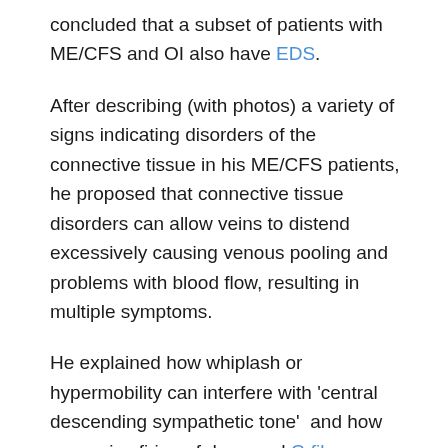concluded that a subset of patients with ME/CFS and OI also have EDS.
After describing (with photos) a variety of signs indicating disorders of the connective tissue in his ME/CFS patients, he proposed that connective tissue disorders can allow veins to distend excessively causing venous pooling and problems with blood flow, resulting in multiple symptoms.
He explained how whiplash or hypermobility can interfere with 'central descending sympathetic tone'  and how excessive firing of damaged C-fibers causes excessive 'peripheral ascending sympathetic rescue activation', both of which can disrupt the sleep-wake cycle.